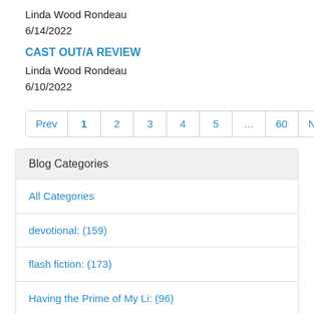Linda Wood Rondeau
6/14/2022
CAST OUT/A REVIEW
Linda Wood Rondeau
6/10/2022
Prev 1 2 3 4 5 … 60 Next
Blog Categories
All Categories
devotional: (159)
flash fiction: (173)
Having the Prime of My Li: (96)